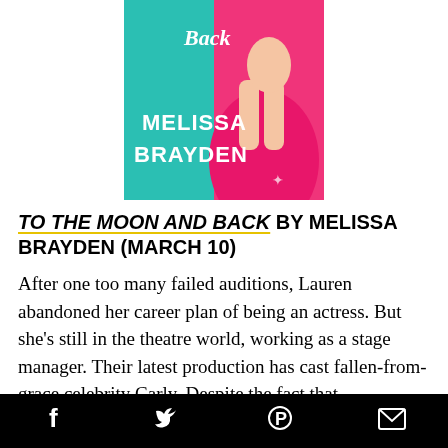[Figure (illustration): Book cover of 'To the Moon and Back' by Melissa Brayden. Teal/turquoise and hot pink background with a woman in a pink dress. Text on cover: 'Back', 'MELISSA BRAYDEN' in large white letters.]
TO THE MOON AND BACK BY MELISSA BRAYDEN (MARCH 10)
After one too many failed auditions, Lauren abandoned her career plan of being an actress. But she's still in the theatre world, working as a stage manager. Their latest production has cast fallen-from-grace celebrity Carly. Despite the fact that
Social share buttons: Facebook, Twitter, Pinterest, Email